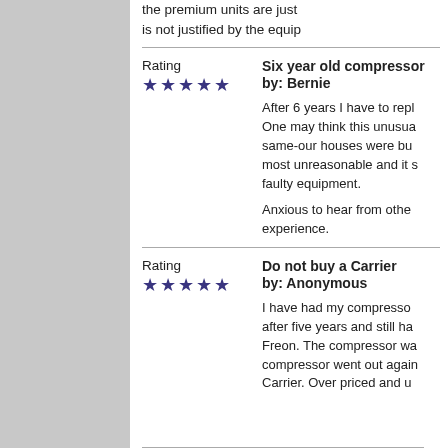the premium units are just... is not justified by the equip...
Rating
★★★★★
Six year old compressor by: Bernie

After 6 years I have to repl... One may think this unusua... same-our houses were bu... most unreasonable and it s... faulty equipment.

Anxious to hear from othe... experience.
Rating
★★★★★
Do not buy a Carrier by: Anonymous

I have had my compresso... after five years and still ha... Freon. The compressor wa... compressor went out again... Carrier. Over priced and u...